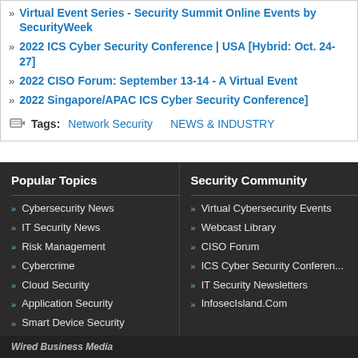Virtual Event Series - Security Summit Online Events by SecurityWeek
2022 ICS Cyber Security Conference | USA [Hybrid: Oct. 24-27]
2022 CISO Forum: September 13-14 - A Virtual Event
2022 Singapore/APAC ICS Cyber Security Conference]
Tags: Network Security  NEWS & INDUSTRY
Popular Topics
Cybersecurity News
IT Security News
Risk Management
Cybercrime
Cloud Security
Application Security
Smart Device Security
Security Community
Virtual Cybersecurity Events
Webcast Library
CISO Forum
ICS Cyber Security Conference
IT Security Newsletters
InfosecIsland.Com
Wired Business Media